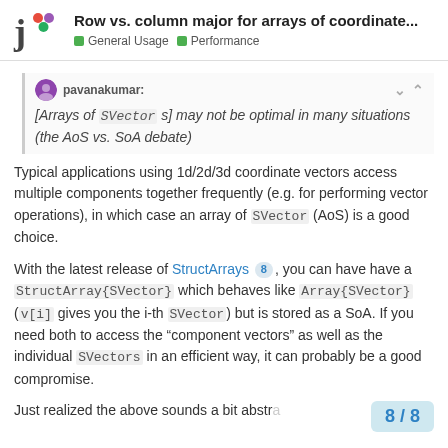Row vs. column major for arrays of coordinate... | General Usage | Performance
[Arrays of SVector s] may not be optimal in many situations (the AoS vs. SoA debate)
Typical applications using 1d/2d/3d coordinate vectors access multiple components together frequently (e.g. for performing vector operations), in which case an array of SVector (AoS) is a good choice.
With the latest release of StructArrays 8, you can have have a StructArray{SVector} which behaves like Array{SVector} (v[i] gives you the i-th SVector) but is stored as a SoA. If you need both to access the "component vectors" as well as the individual SVectors in an efficient way, it can probably be a good compromise.
Just realized the above sounds a bit abstra
8 / 8